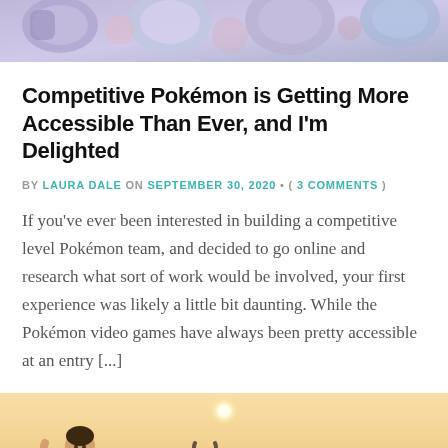[Figure (illustration): Top partial image showing colorful Pokemon-related shapes and characters in pastel purple/blue tones]
Competitive Pokémon is Getting More Accessible Than Ever, and I'm Delighted
BY LAURA DALE ON SEPTEMBER 30, 2020 • ( 3 COMMENTS )
If you've ever been interested in building a competitive level Pokémon team, and decided to go online and research what sort of work would be involved, your first experience was likely a little bit daunting. While the Pokémon video games have always been pretty accessible at an entry [...]
[Figure (illustration): Bottom partial illustration showing animated characters in warm orange/tan tones against a desert/cloudy sky background]